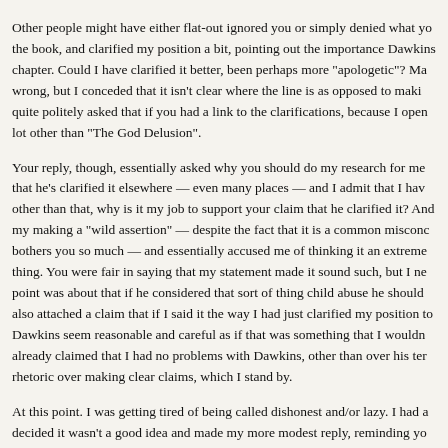Other people might have either flat-out ignored you or simply denied what you said about the book, and clarified my position a bit, pointing out the importance Dawkins placed on the chapter. Could I have clarified it better, been perhaps more "apologetic"? Maybe I was wrong, but I conceded that it isn't clear where the line is as opposed to making it up, and quite politely asked that if you had a link to the clarifications, because I openly admitted to a lot other than "The God Delusion".
Your reply, though, essentially asked why you should do my research for me, pointed out that he's clarified it elsewhere — even many places — and I admit that I haven't read all of it, other than that, why is it my job to support your claim that he clarified it? And you accused my making a "wild assertion" — despite the fact that it is a common misconception — which bothers you so much — and essentially accused me of thinking it an extreme and condemnable thing. You were fair in saying that my statement made it sound such, but I never felt my point was about that if he considered that sort of thing child abuse he should condemn it. You also attached a claim that if I said it the way I had just clarified my position to you, to make Dawkins seem reasonable and careful as if that was something that I wouldn't do. I had already claimed that I had no problems with Dawkins, other than over his tendency to prefer rhetoric over making clear claims, which I stand by.
At this point. I was getting tired of being called dishonest and/or lazy. I had a longer reply, decided it wasn't a good idea and made my more modest reply, reminding you to think about the point I was trying to make and opening with pointing out the contradiction in saying the clarifications where ubiquitous while saying it would take you days to find them. I pointed out that you probably meant "all of them", but who'd asked you for all of them?